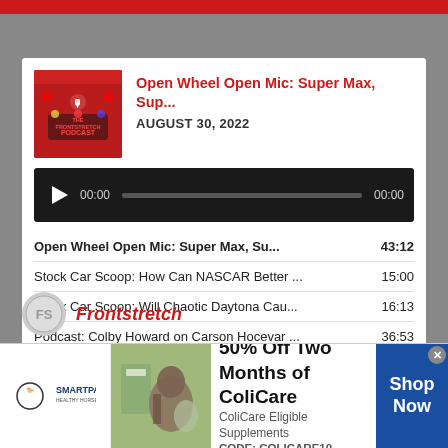[Figure (screenshot): Podcast player card showing Open Wheel Open Mic episode with audio player and episode list]
Open Wheel Open Mic: Super Max, Sup...
AUGUST 30, 2022
Open Wheel Open Mic: Super Max, Su... 43:12
Stock Car Scoop: How Can NASCAR Better ... 15:00
Stock Car Scoop: Will Chaotic Daytona Cau... 16:13
Podcast: Colby Howard on Carson Hocevar ... 36:53
Open Wheel Open Mic: Malukas-Mania! — A...
[Figure (logo): Frontstretch logo at bottom]
[Figure (infographic): SmartPak advertisement banner: 50% Off Two Months of ColiCare, ColiCare Eligible Supplements, CODE: COLICARE10, Shop Now button]